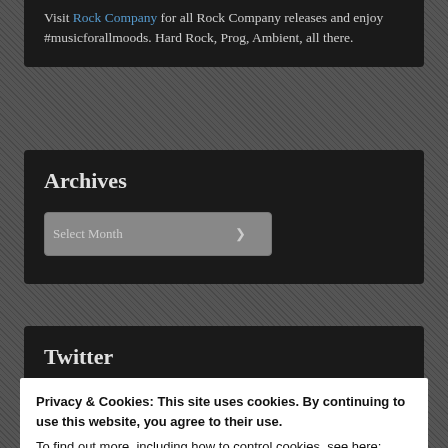Visit Rock Company for all Rock Company releases and enjoy #musicforallmoods. Hard Rock, Prog, Ambient, all there.
Archives
[Figure (screenshot): Select Month dropdown widget]
Twitter
My Tweets
Privacy & Cookies: This site uses cookies. By continuing to use this website, you agree to their use.
To find out more, including how to control cookies, see here: Cookie Policy
Close and accept
2016 2017 2018 2019 2020 ...